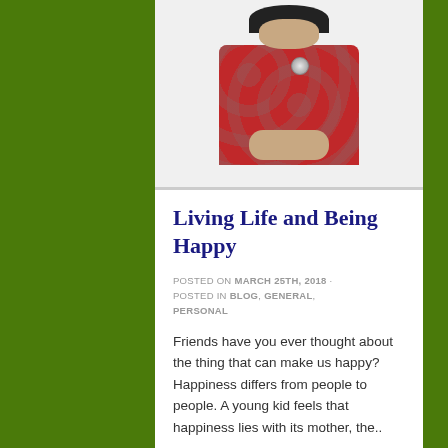[Figure (photo): A woman wearing a red patterned outfit with a dark hijab and a brooch, photographed from the torso up against a beige/pink background.]
Living Life and Being Happy
POSTED ON MARCH 25TH, 2018 · POSTED IN BLOG, GENERAL, PERSONAL
Friends have you ever thought about the thing that can make us happy? Happiness differs from people to people. A young kid feels that happiness lies with its mother, the..
READ MORE